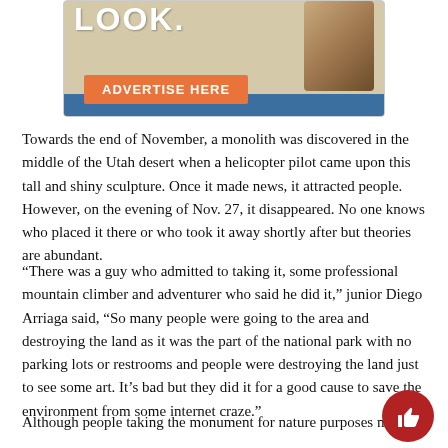[Figure (other): Advertisement banner with owl image, 'LOOK.' text, 'ADVERTISE HERE' orange button, and blue bar at bottom]
Towards the end of November, a monolith was discovered in the middle of the Utah desert when a helicopter pilot came upon this tall and shiny sculpture. Once it made news, it attracted people. However, on the evening of Nov. 27, it disappeared. No one knows who placed it there or who took it away shortly after but theories are abundant.
“There was a guy who admitted to taking it, some professional mountain climber and adventurer who said he did it,” junior Diego Arriaga said, “So many people were going to the area and destroying the land as it was the part of the national park with no parking lots or restrooms and people were destroying the land just to see some art. It’s bad but they did it for a good cause to save the environment from some internet craze.”
Although people taking the monument for nature purposes might h...